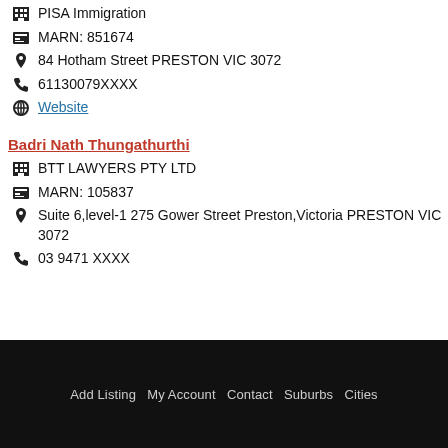PISA Immigration
MARN: 851674
84 Hotham Street PRESTON VIC 3072
61130079XXXX
Website
Badri Nath Thungathurthi
BTT LAWYERS PTY LTD
MARN: 105837
Suite 6,level-1 275 Gower Street Preston,Victoria PRESTON VIC 3072
03 9471 XXXX
Add Listing  My Account  Contact  Suburbs  Cities